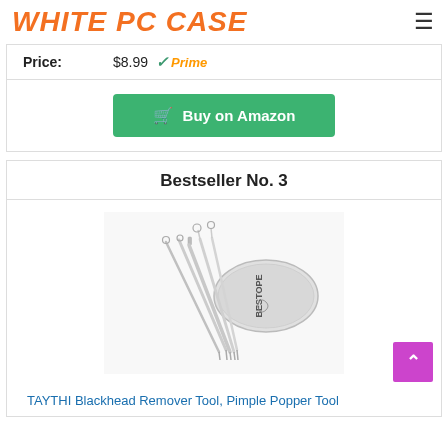WHITE PC CASE
| Price: | $8.99 Prime |
| --- | --- |
Buy on Amazon
Bestseller No. 3
[Figure (photo): BESTOPE blackhead remover pimple popper tool kit with metal case - 5 stainless steel tools fanned out next to a silver oval case labeled BESTOPE]
TAYTHI Blackhead Remover Tool, Pimple Popper Tool